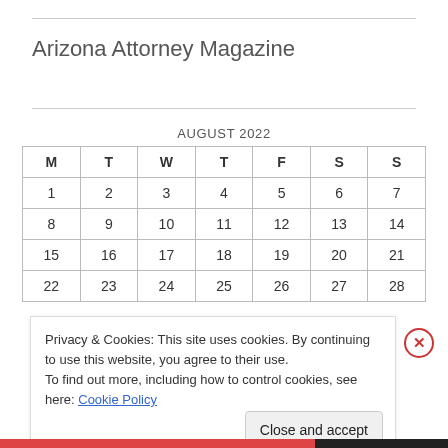Arizona Attorney Magazine
| M | T | W | T | F | S | S |
| --- | --- | --- | --- | --- | --- | --- |
| 1 | 2 | 3 | 4 | 5 | 6 | 7 |
| 8 | 9 | 10 | 11 | 12 | 13 | 14 |
| 15 | 16 | 17 | 18 | 19 | 20 | 21 |
| 22 | 23 | 24 | 25 | 26 | 27 | 28 |
Privacy & Cookies: This site uses cookies. By continuing to use this website, you agree to their use.
To find out more, including how to control cookies, see here: Cookie Policy
Close and accept